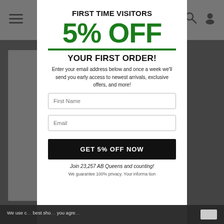FIRST TIME VISITORS
5% OFF
YOUR FIRST ORDER!
Enter your email address below and once a week we'll send you early access to newest arrivals, exclusive offers, and more!
First Name
Email
GET 5% OFF NOW
Join 23,257 AB Queens and counting!
We guarantee 100% privacy. Your informa tion
We use c... best sho... you agre...